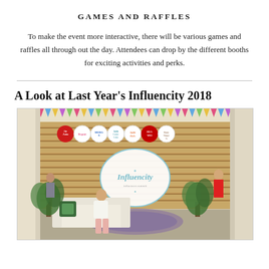GAMES AND RAFFLES
To make the event more interactive, there will be various games and raffles all through out the day. Attendees can drop by the different booths for exciting activities and perks.
A Look at Last Year's Influencity 2018
[Figure (photo): Photo of Influencity 2018 event at a mall, showing a wooden slat backdrop with sponsor logos (AirAsia, MEDIAN, Ayala Center Cebu, Ayala Malls, Huawei, and others), an Influencity circular sign, tropical plants, a couch, and a woman sitting in front of the display.]